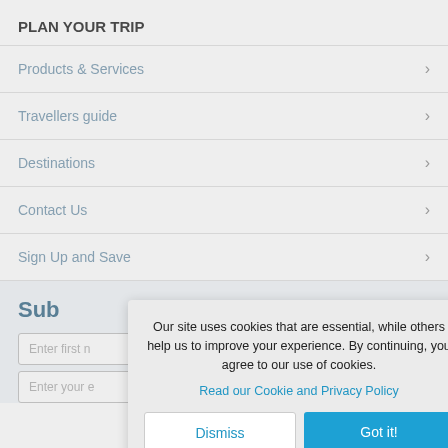PLAN YOUR TRIP
Products & Services
Travellers guide
Destinations
Contact Us
Sign Up and Save
Sub
Enter first n
Enter your e
Our site uses cookies that are essential, while others help us to improve your experience. By continuing, you agree to our use of cookies.
Read our Cookie and Privacy Policy
Dismiss
Got it!
ms